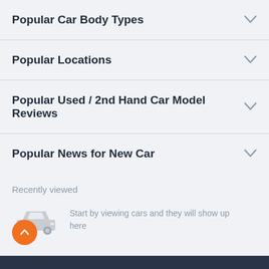Popular Car Body Types
Popular Locations
Popular Used / 2nd Hand Car Model Reviews
Popular News for New Car
Recently viewed
Start by viewing cars and they will show up here
[Figure (illustration): Grey car silhouette icon]
[Figure (illustration): Orange circular back-to-top button with upward chevron arrow]